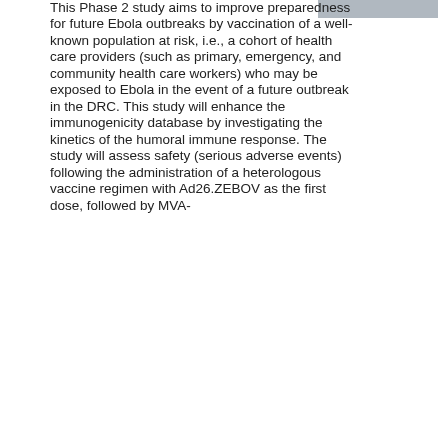This Phase 2 study aims to improve preparedness for future Ebola outbreaks by vaccination of a well-known population at risk, i.e., a cohort of health care providers (such as primary, emergency, and community health care workers) who may be exposed to Ebola in the event of a future outbreak in the DRC. This study will enhance the immunogenicity database by investigating the kinetics of the humoral immune response. The study will assess safety (serious adverse events) following the administration of a heterologous vaccine regimen with Ad26.ZEBOV as the first dose, followed by MVA-